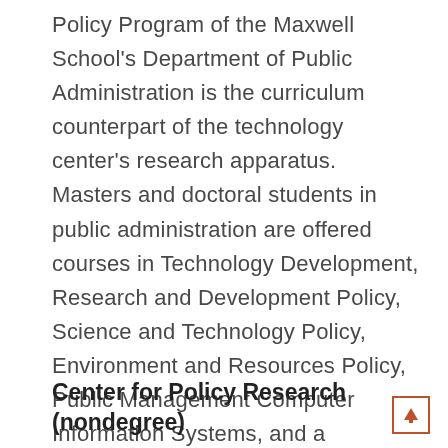Policy Program of the Maxwell School's Department of Public Administration is the curriculum counterpart of the technology center's research apparatus. Masters and doctoral students in public administration are offered courses in Technology Development, Research and Development Policy, Science and Technology Policy, Environment and Resources Policy, Public Management Computer Information Systems, and a Research Workshop in Technology Policy.
ctip.maxwell.syr.edu/
Center for Policy Research (nondegree)